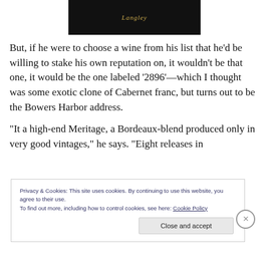[Figure (photo): Dark background photo showing a wine bottle with 'Langley' written in gold italic script]
But, if he were to choose a wine from his list that he'd be willing to stake his own reputation on, it wouldn't be that one, it would be the one labeled '2896'—which I thought was some exotic clone of Cabernet franc, but turns out to be the Bowers Harbor address.
“It a high-end Meritage, a Bordeaux-blend produced only in very good vintages,” he says. “Eight releases in
Privacy & Cookies: This site uses cookies. By continuing to use this website, you agree to their use.
To find out more, including how to control cookies, see here: Cookie Policy
Close and accept